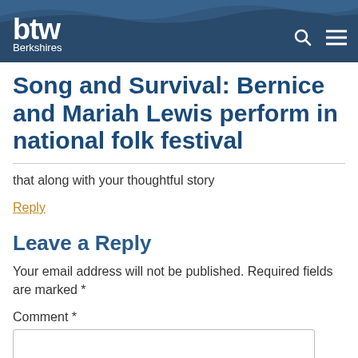btw Berkshires
Song and Survival: Bernice and Mariah Lewis perform in national folk festival
that along with your thoughtful story
Reply
Leave a Reply
Your email address will not be published. Required fields are marked *
Comment *